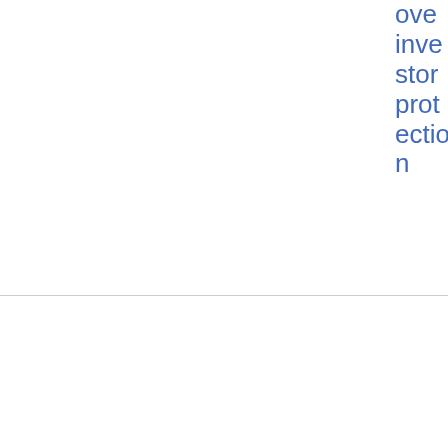ove investor protection
| Date | Reference | Title | Tags | Type | File |
| --- | --- | --- | --- | --- | --- |
| 28/03/2022 | ESMA 71-99-1912 | ESMA publishes its Final Report on the EU carbon market | MiFID - Secondary Markets | Press Releases | Sustainable finance | Press Release | PDF 97.76 KB |